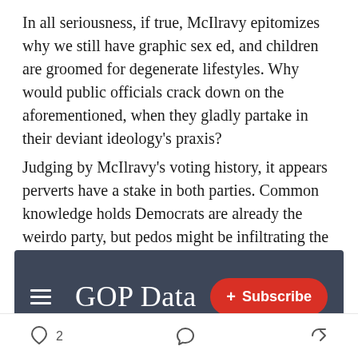In all seriousness, if true, McIlravy epitomizes why we still have graphic sex ed, and children are groomed for degenerate lifestyles. Why would public officials crack down on the aforementioned, when they gladly partake in their deviant ideology's praxis?
Judging by McIlravy's voting history, it appears perverts have a stake in both parties. Common knowledge holds Democrats are already the weirdo party, but pedos might be infiltrating the GOP too.
[Figure (screenshot): Screenshot of a website header with dark navy/slate background showing a hamburger menu icon on the left, 'GOP Data' as the site title in white, and a red 'Subscribe' button with a plus sign on the right.]
[Figure (other): Social media action bar at the bottom showing a heart icon with '2', a comment bubble icon, and a share/forward icon.]